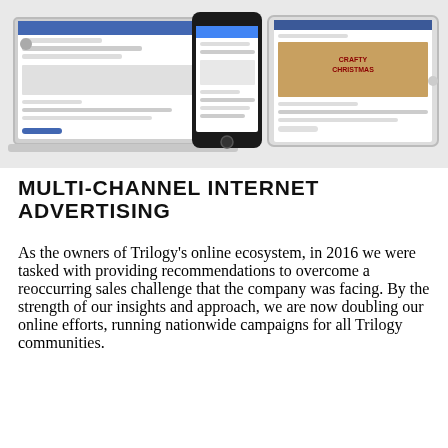[Figure (photo): Devices mockup showing a laptop, smartphone, and tablet displaying social media and web content including Facebook-style posts and a Christmas fair advertisement.]
MULTI-CHANNEL INTERNET ADVERTISING
As the owners of Trilogy's online ecosystem, in 2016 we were tasked with providing recommendations to overcome a reoccurring sales challenge that the company was facing. By the strength of our insights and approach, we are now doubling our online efforts, running nationwide campaigns for all Trilogy communities.